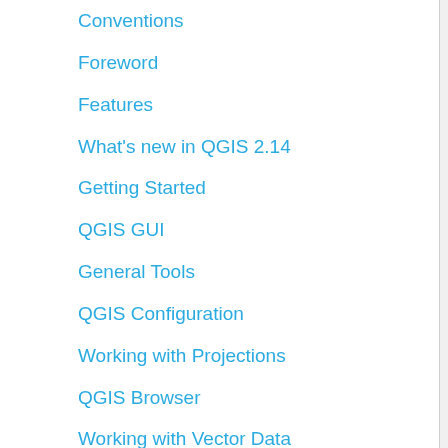Conventions
Foreword
Features
What's new in QGIS 2.14
Getting Started
QGIS GUI
General Tools
QGIS Configuration
Working with Projections
QGIS Browser
Working with Vector Data
Working with Raster Data
Working with OGC Data
Working with GPS Data
Authentication System
GRASS GIS Integration